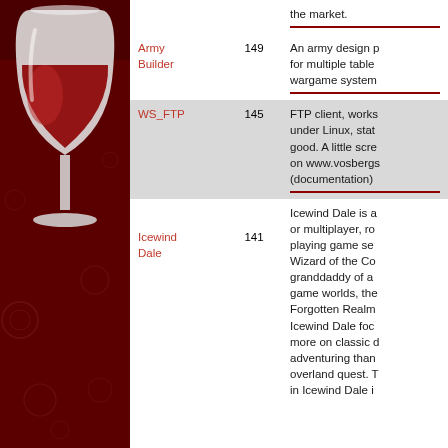[Figure (illustration): Wine application logo: a wine glass with red wine on a dark red decorative background with subtle red circular motifs]
| Application | Score | Description |
| --- | --- | --- |
|  |  | the market. |
| Army Builder | 149 | An army design p... for multiple table... wargame system... |
| WS_FTP | 145 | FTP client, works... under Linux, sta... good. A little scre... on www.vosbergs... (documentation) |
| Icewind Dale | 141 | Icewind Dale is a... or multiplayer, ro... playing game se... Wizard of the Co... granddaddy of a... game worlds, the... Forgotten Realm... Icewind Dale foc... more on classic d... adventuring than... overland quest. T... in Icewind Dale i... |